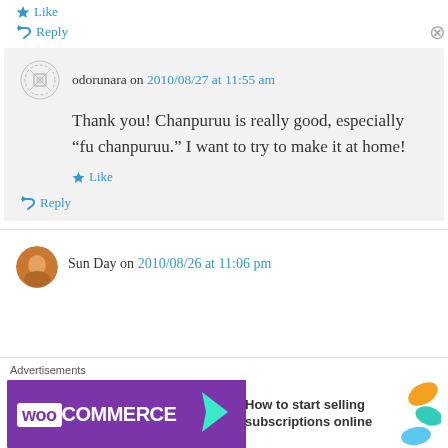Like
↳ Reply
odorunara on 2010/08/27 at 11:55 am
Thank you! Chanpuruu is really good, especially “fu chanpuruu.” I want to try to make it at home!
Like
↳ Reply
Sun Day on 2010/08/26 at 11:06 pm
Advertisements
[Figure (infographic): WooCommerce advertisement banner: purple background with WooCommerce logo and arrow, text reads 'How to start selling subscriptions online', colorful leaf/petal shapes on right side.]